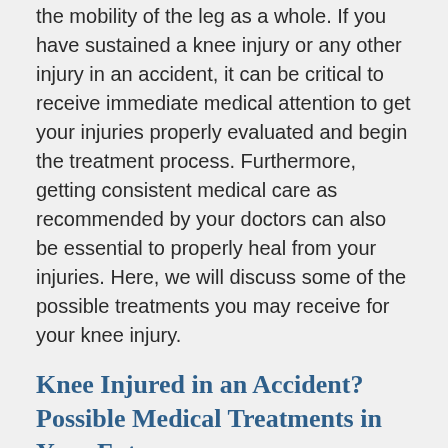the mobility of the leg as a whole. If you have sustained a knee injury or any other injury in an accident, it can be critical to receive immediate medical attention to get your injuries properly evaluated and begin the treatment process. Furthermore, getting consistent medical care as recommended by your doctors can also be essential to properly heal from your injuries. Here, we will discuss some of the possible treatments you may receive for your knee injury.
Knee Injured in an Accident? Possible Medical Treatments in Your Future
There are several different components to the complex hinge joint that is the knee. The knee is comprised of three main bones which are the tibia, patella, and femur. These are also known as the